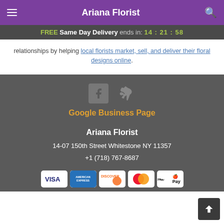Ariana Florist
FREE Same Day Delivery ends in: 14:21:58
relationships by helping local florists market, sell, and deliver their floral designs online.
[Figure (logo): Facebook and Yelp social media icons in grey]
Google Business Page
Ariana Florist
14-07 150th Street Whitestone NY 11357
+1 (718) 767-8687
[Figure (other): Payment method icons: VISA, American Express, Discover, Mastercard, Apple Pay]